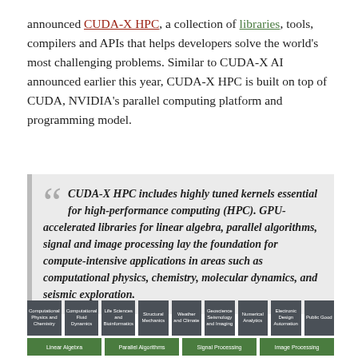announced CUDA-X HPC, a collection of libraries, tools, compilers and APIs that helps developers solve the world's most challenging problems. Similar to CUDA-X AI announced earlier this year, CUDA-X HPC is built on top of CUDA, NVIDIA's parallel computing platform and programming model.
CUDA-X HPC includes highly tuned kernels essential for high-performance computing (HPC). GPU-accelerated libraries for linear algebra, parallel algorithms, signal and image processing lay the foundation for compute-intensive applications in areas such as computational physics, chemistry, molecular dynamics, and seismic exploration.
[Figure (infographic): Diagram showing application areas (Computational Physics and Chemistry, Computational Fluid Dynamics, Life Sciences and Bioinformatics, Structural Mechanics, Weather and Climate, Geoscience Seismology and Imaging, Numerical Analytics, Electronic Design Automation, Public Good) in dark grey boxes on top row, and library categories (Linear Algebra, Parallel Algorithms, Signal Processing, Image Processing) in green boxes on bottom row.]